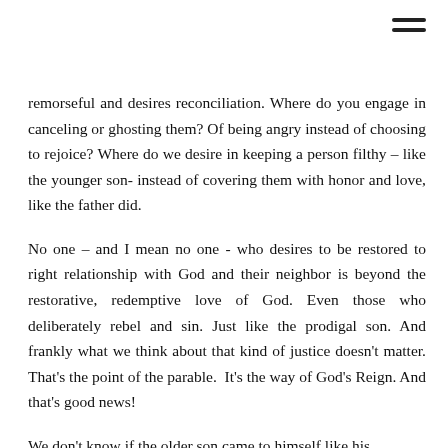remorseful and desires reconciliation. Where do you engage in canceling or ghosting them? Of being angry instead of choosing to rejoice? Where do we desire in keeping a person filthy – like the younger son- instead of covering them with honor and love, like the father did.
No one – and I mean no one - who desires to be restored to right relationship with God and their neighbor is beyond the restorative, redemptive love of God. Even those who deliberately rebel and sin. Just like the prodigal son. And frankly what we think about that kind of justice doesn't matter. That's the point of the parable. It's the way of God's Reign. And that's good news!
We don't know if the older son came to himself like his